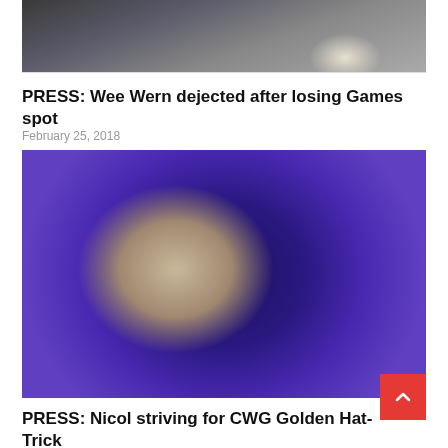[Figure (photo): Top portion of a squash match photo showing players and crowd, partially cropped at top]
PRESS: Wee Wern dejected after losing Games spot
February 25, 2018
[Figure (photo): Female squash player in dark outfit reaching forward mid-match, crowd visible in background with purple/blue lighting]
PRESS: Nicol striving for CWG Golden Hat-Trick